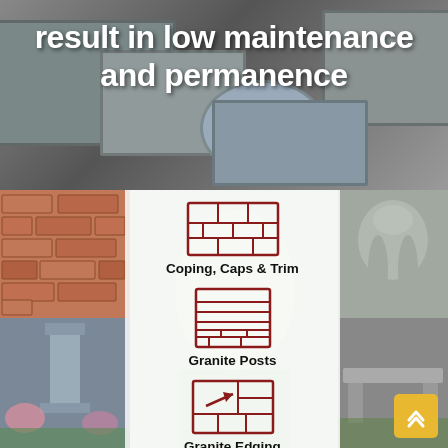[Figure (photo): Granite blocks and stone elements close-up photo background]
result in low maintenance and permanence
[Figure (photo): Collage of granite products: brick wall, granite post, elephant sculpture, garden edging, with icons for Coping Caps & Trim, Granite Posts, Granite Edging]
Coping, Caps & Trim
Granite Posts
Granite Edging